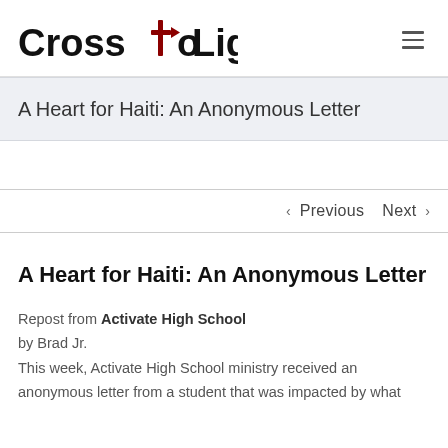Cross To Light
A Heart for Haiti: An Anonymous Letter
< Previous   Next >
A Heart for Haiti: An Anonymous Letter
Repost from Activate High School by Brad Jr. This week, Activate High School ministry received an anonymous letter from a student that was impacted by what